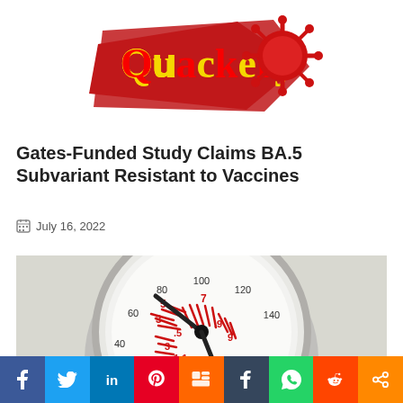[Figure (logo): Quackery logo with red brush stroke background, yellow and orange 'Quackery' text, and red coronavirus graphic]
Gates-Funded Study Claims BA.5 Subvariant Resistant to Vaccines
July 16, 2022
[Figure (photo): Close-up photo of a pressure gauge with red markings and black needle]
[Figure (infographic): Social media sharing bar with buttons for Facebook, Twitter, LinkedIn, Pinterest, Mix, Tumblr, WhatsApp, Reddit, and Share]